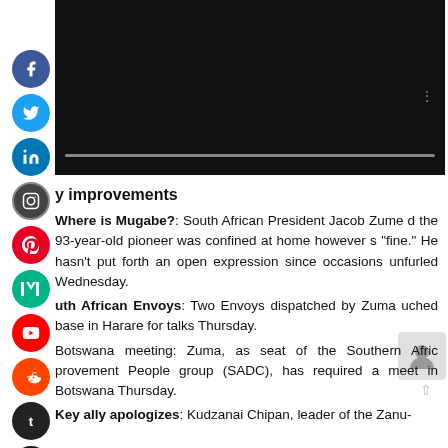[Figure (screenshot): Dark video player with playback bar at bottom and three-dot menu icon]
[Figure (illustration): Vertical stack of social media icons: Facebook, Twitter, LinkedIn, Instagram, Pinterest, Medium, YouTube, Reddit, Tumblr, Digg]
y improvements
Where is Mugabe?: South African President Jacob Zume d the 93-year-old pioneer was confined at home however s "fine." He hasn't put forth an open expression since occasions unfurled Wednesday.
uth African Envoys: Two Envoys dispatched by Zuma uched base in Harare for talks Thursday.
Botswana meeting: Zuma, as seat of the Southern Afric provement People group (SADC), has required a meet in Botswana Thursday.
Key ally apologizes: Kudzanai Chipan, leader of the Zanu-